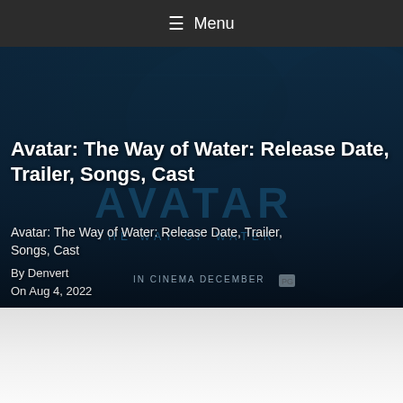≡ Menu
[Figure (screenshot): Avatar: The Way of Water movie poster/promotional image with deep blue underwater tones, showing Avatar logo text and 'THE WAY OF WATER' subtitle, along with 'IN CINEMA DECEMBER' text at the bottom]
Avatar: The Way of Water: Release Date, Trailer, Songs, Cast
Avatar: The Way of Water: Release Date, Trailer, Songs, Cast
By Denvert
On Aug 4, 2022